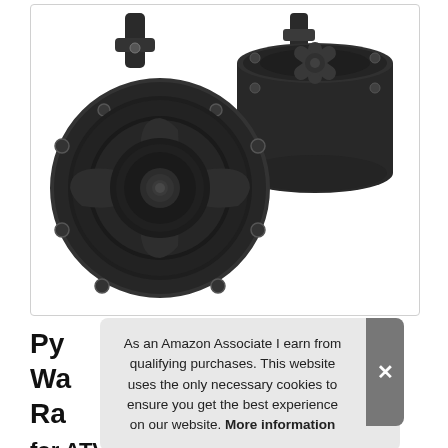[Figure (photo): Two black Pyle brand tower speakers shown from front and back angles. The front speaker shows the Pyle logo in red, black cone and grille with star-pattern blades. Both speakers are mounted with black brackets. White background.]
Py... Wa... Ra... for ATV, Jeep, UTV, 4 Inch, 800 Watt
As an Amazon Associate I earn from qualifying purchases. This website uses the only necessary cookies to ensure you get the best experience on our website. More information